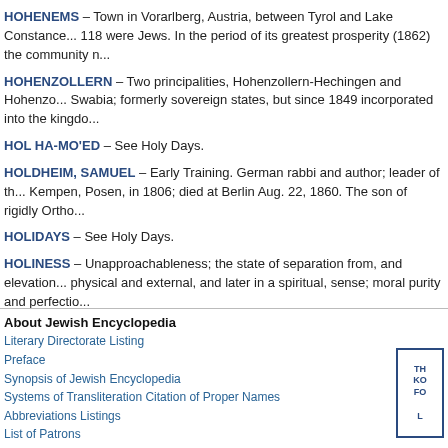HOHENEMS – Town in Vorarlberg, Austria, between Tyrol and Lake Constance... 118 were Jews. In the period of its greatest prosperity (1862) the community n...
HOHENZOLLERN – Two principalities, Hohenzollern-Hechingen and Hohenzo... Swabia; formerly sovereign states, but since 1849 incorporated into the kingdo...
HOL HA-MO'ED – See Holy Days.
HOLDHEIM, SAMUEL – Early Training. German rabbi and author; leader of th... Kempen, Posen, in 1806; died at Berlin Aug. 22, 1860. The son of rigidly Ortho...
HOLIDAYS – See Holy Days.
HOLINESS – Unapproachableness; the state of separation from, and elevation... physical and external, and later in a spiritual, sense; moral purity and perfectio...
HOLITSCHER, PHILIP – Hungarian land holder and author; born in Budapest... mercantile career, and in 1842 he took over his father's factory. He retired, how...
HOLLAENDERSKI, LÉON LÖB BEN DAVID – Polish scholar and author; born... 1808; died in Paris Dec. 20, 1878. He studied at Königsberg, Prussia, and on b... tribunal...
About Jewish Encyclopedia
Literary Directorate Listing
Preface
Synopsis of Jewish Encyclopedia
Systems of Transliteration Citation of Proper Names
Abbreviations Listings
List of Patrons